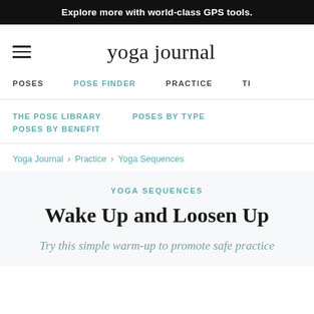Explore more with world-class GPS tools.
yoga journal
POSES  POSE FINDER  PRACTICE  TI
THE POSE LIBRARY  POSES BY TYPE  POSES BY BENEFIT
Yoga Journal > Practice > Yoga Sequences
YOGA SEQUENCES
Wake Up and Loosen Up
Try this simple warm-up to promote safe practice